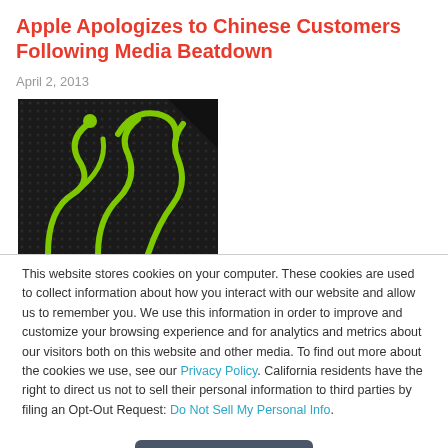Apple Apologizes to Chinese Customers Following Media Beatdown
April 2, 2013
[Figure (photo): Dark background with green neon snake-like logo illustration on a textured surface]
This website stores cookies on your computer. These cookies are used to collect information about how you interact with our website and allow us to remember you. We use this information in order to improve and customize your browsing experience and for analytics and metrics about our visitors both on this website and other media. To find out more about the cookies we use, see our Privacy Policy. California residents have the right to direct us not to sell their personal information to third parties by filing an Opt-Out Request: Do Not Sell My Personal Info.
Accept